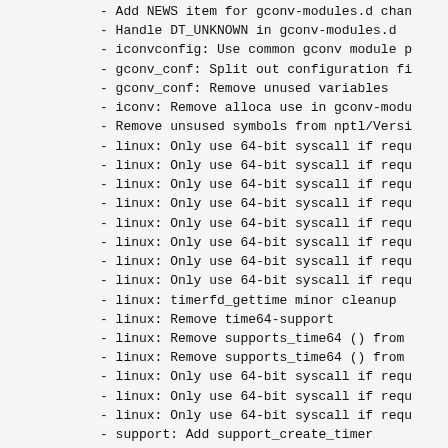- Add NEWS item for gconv-modules.d chan
- Handle DT_UNKNOWN in gconv-modules.d
- iconvconfig: Use common gconv module p
- gconv_conf: Split out configuration fi
- gconv_conf: Remove unused variables
- iconv: Remove alloca use in gconv-modu
- Remove unsused symbols from nptl/Versi
- linux: Only use 64-bit syscall if requ
- linux: Only use 64-bit syscall if requ
- linux: Only use 64-bit syscall if requ
- linux: Only use 64-bit syscall if requ
- linux: Only use 64-bit syscall if requ
- linux: Only use 64-bit syscall if requ
- linux: Only use 64-bit syscall if requ
- linux: Only use 64-bit syscall if requ
- linux: timerfd_gettime minor cleanup
- linux: Remove time64-support
- linux: Remove supports_time64 () from
- linux: Remove supports_time64 () from
- linux: Only use 64-bit syscall if requ
- linux: Only use 64-bit syscall if requ
- linux: Only use 64-bit syscall if requ
- support: Add support_create_timer